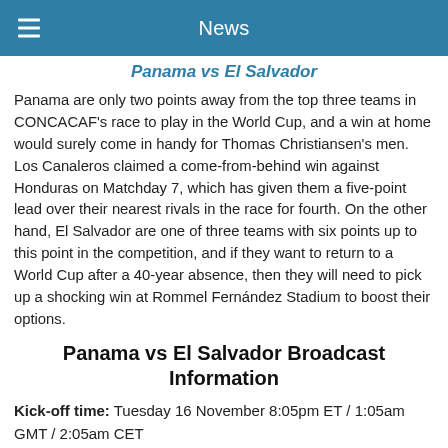News
Panama vs El Salvador
Panama are only two points away from the top three teams in CONCACAF's race to play in the World Cup, and a win at home would surely come in handy for Thomas Christiansen's men. Los Canaleros claimed a come-from-behind win against Honduras on Matchday 7, which has given them a five-point lead over their nearest rivals in the race for fourth. On the other hand, El Salvador are one of three teams with six points up to this point in the competition, and if they want to return to a World Cup after a 40-year absence, then they will need to pick up a shocking win at Rommel Fernández Stadium to boost their options.
Panama vs El Salvador Broadcast Information
Kick-off time: Tuesday 16 November 8:05pm ET / 1:05am GMT / 2:05am CET
Stadium: Estadio Rommel Fernández Gutiérrez (Ciudad de Panamá)
El Salvador ESPN Lineup Stream